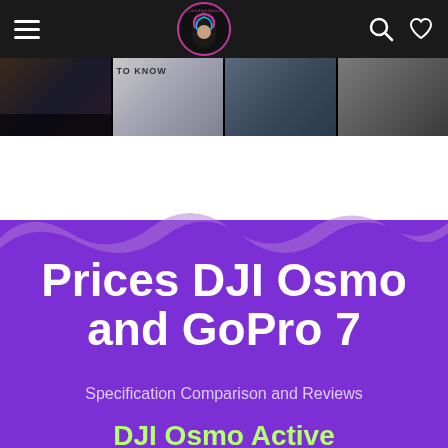CurlyHairQueen navigation bar with hamburger menu, logo, search and heart icons
[Figure (screenshot): Thumbnail strip of four blog post preview images]
[Figure (illustration): Purple wave background decoration separating white and purple sections]
Prices DJI Osmo and GoPro 7
Specification Comparison and Reviews
DJI Osmo Active